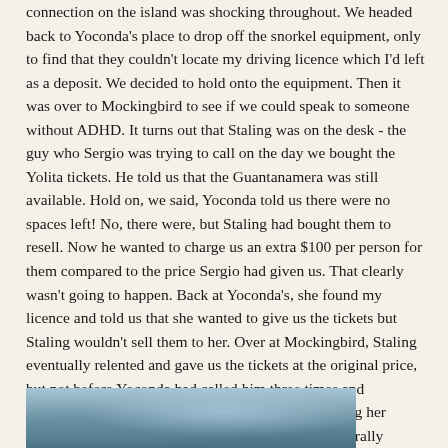connection on the island was shocking throughout. We headed back to Yoconda's place to drop off the snorkel equipment, only to find that they couldn't locate my driving licence which I'd left as a deposit. We decided to hold onto the equipment. Then it was over to Mockingbird to see if we could speak to someone without ADHD. It turns out that Staling was on the desk - the guy who Sergio was trying to call on the day we bought the Yolita tickets. He told us that the Guantanamera was still available. Hold on, we said, Yoconda told us there were no spaces left! No, there were, but Staling had bought them to resell. Now he wanted to charge us an extra $100 per person for them compared to the price Sergio had given us. That clearly wasn't going to happen. Back at Yoconda's, she found my licence and told us that she wanted to give us the tickets but Staling wouldn't sell them to her. Over at Mockingbird, Staling eventually relented and gave us the tickets at the original price, but not before Yoconda had called him three times and messaged him on WhatsApp, accusing him of stealing her customers. It was hilarious - the two agencies are literally opposite each other on the same road. I was expecting it to climax in some sort of Wild West duel.
[Figure (photo): Partial view of a photograph at the bottom of the page, appearing to show a water or ocean scene in blue-grey tones, cropped at the page edge.]